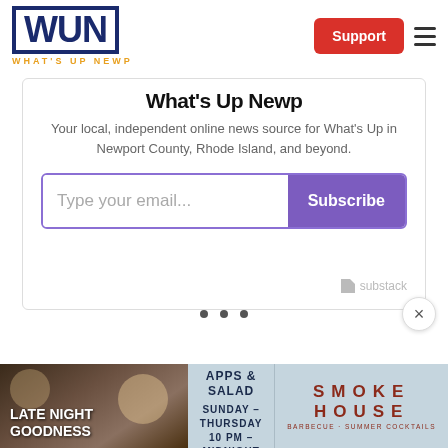WUN WHAT'S UP NEWP — Support
What's Up Newp
Your local, independent online news source for What's Up in Newport County, Rhode Island, and beyond.
Type your email... Subscribe
[Figure (screenshot): Email subscription form with purple Subscribe button and Substack branding]
[Figure (infographic): Late Night Goodness advertisement for Smokehouse BBQ: 1/2 price apps & salad, Sunday-Thursday, 10 PM - Midnight]